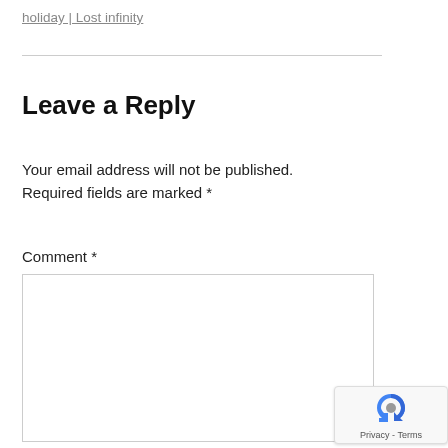holiday | Lost infinity
Leave a Reply
Your email address will not be published. Required fields are marked *
Comment *
[Figure (other): Empty comment text area input box with a light gray border]
[Figure (other): reCAPTCHA badge showing the reCAPTCHA logo and Privacy - Terms text]